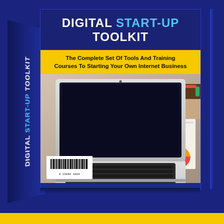[Figure (illustration): 3D product box for 'Digital Start-Up Toolkit' showing a laptop on a desk with charts. Box has dark navy blue front face with title in white and cyan, yellow subtitle band reading 'The Complete Set Of Tools And Training Courses To Starting Your Own Internet Business', spine showing the product name vertically, and a barcode at bottom left.]